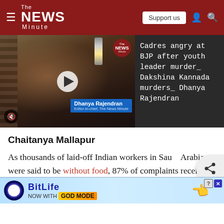The NEWS Minute
[Figure (screenshot): Video thumbnail of Dhanya Rajendran, Editor-in-chief of The News Minute, with play button overlay. TNM logo in top right corner.]
Cadres angry at BJP after youth leader murder_ Dakshina Kannada murders_ Dhanya Rajendran
Chaitanya Mallapur
As thousands of laid-off Indian workers in Saudi Arabia were said to be without food, 87% of complaints received from Indian workers at Indian missions across nine countries were from six Gulf countries including Qatar and Saudi
[Figure (screenshot): BitLife game advertisement banner: 'NOW WITH GOD MODE']